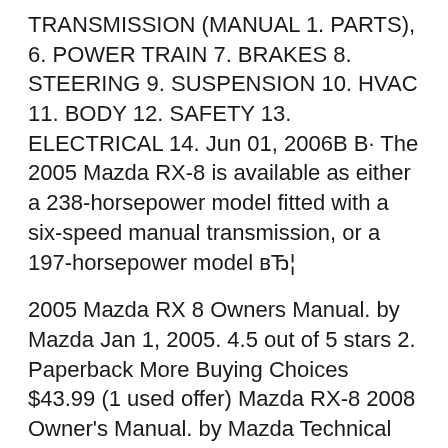TRANSMISSION (MANUAL 1. PARTS), 6. POWER TRAIN 7. BRAKES 8. STEERING 9. SUSPENSION 10. HVAC 11. BODY 12. SAFETY 13. ELECTRICAL 14. Jun 01, 2006В В· The 2005 Mazda RX-8 is available as either a 238-horsepower model fitted with a six-speed manual transmission, or a 197-horsepower model вЂ¦
2005 Mazda RX 8 Owners Manual. by Mazda Jan 1, 2005. 4.5 out of 5 stars 2. Paperback More Buying Choices $43.99 (1 used offer) Mazda RX-8 2008 Owner's Manual. by Mazda Technical Staff Jan 1, 2007. Paperback More Buying Choices $36.00 (1 used offer) 2005 Mazda RX вЂ¦ 2005 Mazda RX-8 Top Comparisons. Compared 2005 Mazda RX 8 owners manual.